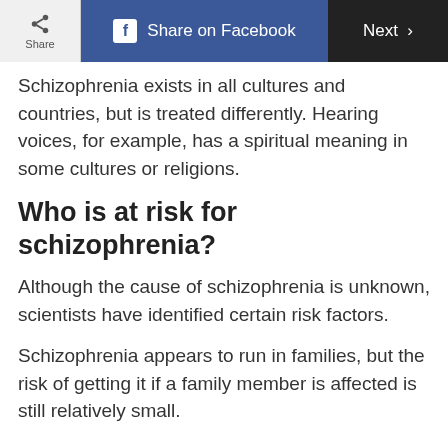Share | Share on Facebook | Next >
Schizophrenia exists in all cultures and countries, but is treated differently. Hearing voices, for example, has a spiritual meaning in some cultures or religions.
Who is at risk for schizophrenia?
Although the cause of schizophrenia is unknown, scientists have identified certain risk factors.
Schizophrenia appears to run in families, but the risk of getting it if a family member is affected is still relatively small.